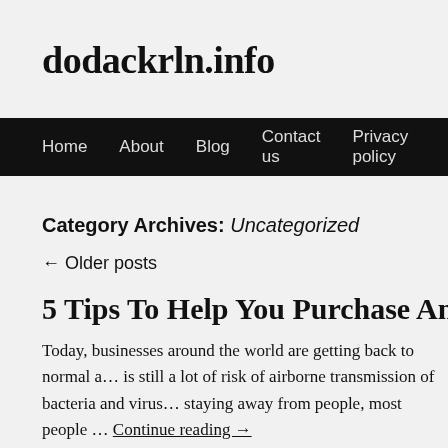dodackrln.info
Home | About | Blog | Contact us | Privacy policy
Category Archives: Uncategorized
← Older posts
5 Tips To Help You Purchase An Air Purif…
Today, businesses around the world are getting back to normal a… is still a lot of risk of airborne transmission of bacteria and virus… staying away from people, most people … Continue reading →
Posted in Uncategorized | Tagged building, Business, commercial, technolog…